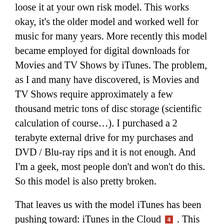loose it at your own risk model. This works okay, it's the older model and worked well for music for many years. More recently this model became employed for digital downloads for Movies and TV Shows by iTunes. The problem, as I and many have discovered, is Movies and TV Shows require approximately a few thousand metric tons of disc storage (scientific calculation of course…). I purchased a 2 terabyte external drive for my purchases and DVD / Blu-ray rips and it is not enough. And I'm a geek, most people don't and won't do this. So this model is also pretty broken.
That leaves us with the model iTunes has been pushing toward: iTunes in the Cloud [4] . This is, I think, the right model. And we have actually seen this model a lot on a much smaller scale for many years with smaller companies and products. I have several software products and things of that nature that I can go log in to an account and download at any time on any [5]